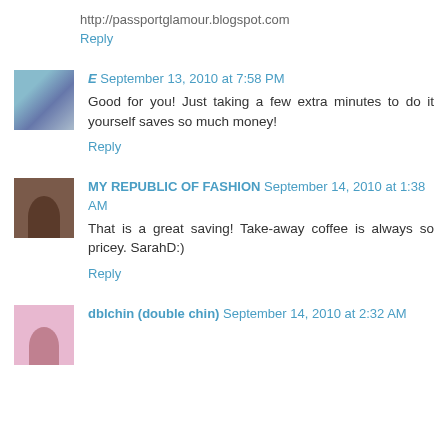http://passportglamour.blogspot.com
Reply
E  September 13, 2010 at 7:58 PM
Good for you! Just taking a few extra minutes to do it yourself saves so much money!
Reply
MY REPUBLIC OF FASHION  September 14, 2010 at 1:38 AM
That is a great saving! Take-away coffee is always so pricey. SarahD:)
Reply
dblchin (double chin)  September 14, 2010 at 2:32 AM